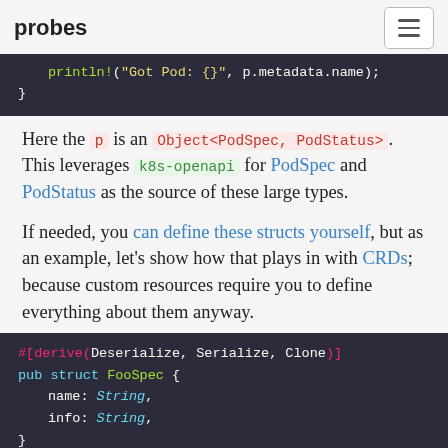probes
[Figure (screenshot): Code block showing: println!("Got Pod: {}", p.metadata.name); }]
Here the p is an Object<PodSpec, PodStatus>. This leverages k8s-openapi for PodSpec and PodStatus as the source of these large types.
If needed, you can define these structs yourself, but as an example, let's show how that plays in with CRDs; because custom resources require you to define everything about them anyway.
[Figure (screenshot): Code block showing: #[derive(Deserialize, Serialize, Clone)] pub struct FooSpec { name: String, info: String, }]